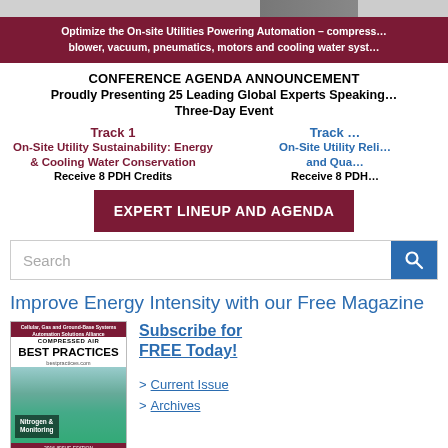[Figure (photo): Top photo strip with gray/photo background]
Optimize the On-site Utilities Powering Automation – compress… blower, vacuum, pneumatics, motors and cooling water syst…
CONFERENCE AGENDA ANNOUNCEMENT
Proudly Presenting 25 Leading Global Experts Speaking… Three-Day Event
Track 1
On-Site Utility Sustainability: Energy & Cooling Water Conservation
Receive 8 PDH Credits
Track …
On-Site Utility Reli… and Qua…
Receive 8 PDH…
EXPERT LINEUP AND AGENDA
Search
Improve Energy Intensity with our Free Magazine
[Figure (photo): Magazine cover for Compressed Air Best Practices, Nitrogen & Monitoring issue]
Subscribe for FREE Today!
> Current Issue
> Archives